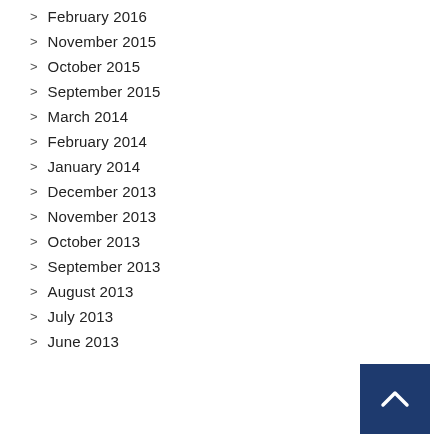February 2016
November 2015
October 2015
September 2015
March 2014
February 2014
January 2014
December 2013
November 2013
October 2013
September 2013
August 2013
July 2013
June 2013